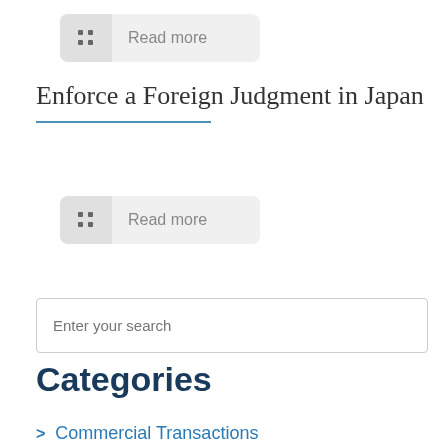[Figure (other): Read more button with grid icon at top of page]
Enforce a Foreign Judgment in Japan
[Figure (other): Read more button below title]
Enter your search
Categories
Commercial Transactions
Corporate
Debt Collection